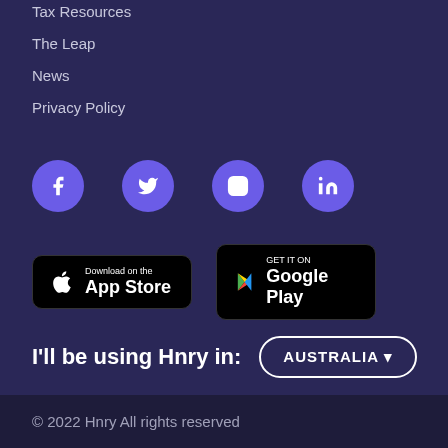Tax Resources
The Leap
News
Privacy Policy
[Figure (infographic): Social media icons: Facebook, Twitter, Instagram, LinkedIn — purple circles with white icons]
[Figure (infographic): App store download buttons: Download on the App Store (Apple) and GET IT ON Google Play]
I'll be using Hnry in: AUSTRALIA ▾
© 2022 Hnry All rights reserved